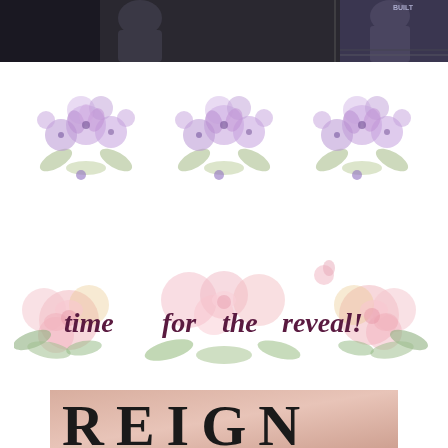[Figure (photo): Top strip showing dark film/TV scene with two figures, possibly in coats, outdoor setting]
[Figure (illustration): Three clusters of watercolor purple/lavender flowers arranged in a horizontal row, decorative divider]
[Figure (illustration): Script text reading 'time for the reveal!' overlaid on pink watercolor roses and green leaves, decorative banner]
[Figure (photo): Bottom partial book cover showing large serif letters 'REIGN' in black on a blush/pink background]